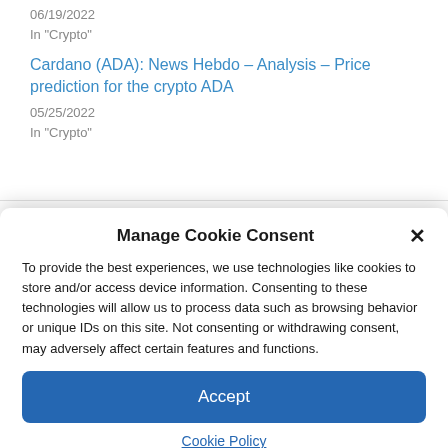06/19/2022
In "Crypto"
Cardano (ADA): News Hebdo – Analysis – Price prediction for the crypto ADA
05/25/2022
In "Crypto"
Manage Cookie Consent
To provide the best experiences, we use technologies like cookies to store and/or access device information. Consenting to these technologies will allow us to process data such as browsing behavior or unique IDs on this site. Not consenting or withdrawing consent, may adversely affect certain features and functions.
Accept
Cookie Policy